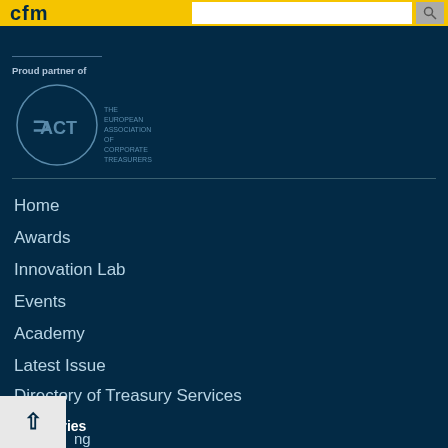cfm
Proud partner of
[Figure (logo): EACT - The European Association of Corporate Treasurers circular logo]
Home
Awards
Innovation Lab
Events
Academy
Latest Issue
Directory of Treasury Services
Categories
ng